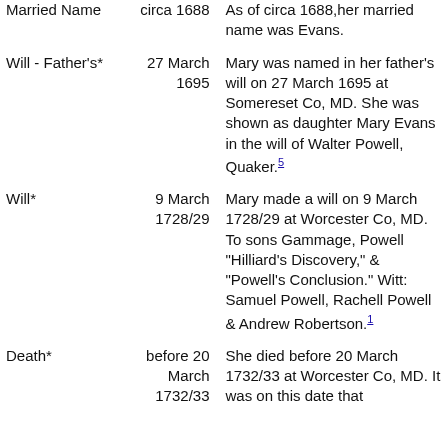| Married Name | circa 1688 | As of circa 1688, her married name was Evans. |
| Will - Father's* | 27 March 1695 | Mary was named in her father's will on 27 March 1695 at Somereset Co, MD. She was shown as daughter Mary Evans in the will of Walter Powell, Quaker.5 |
| Will* | 9 March 1728/29 | Mary made a will on 9 March 1728/29 at Worcester Co, MD. To sons Gammage, Powell "Hilliard's Discovery," & "Powell's Conclusion." Witt: Samuel Powell, Rachell Powell & Andrew Robertson.1 |
| Death* | before 20 March 1732/33 | She died before 20 March 1732/33 at Worcester Co, MD. It was on this date that |